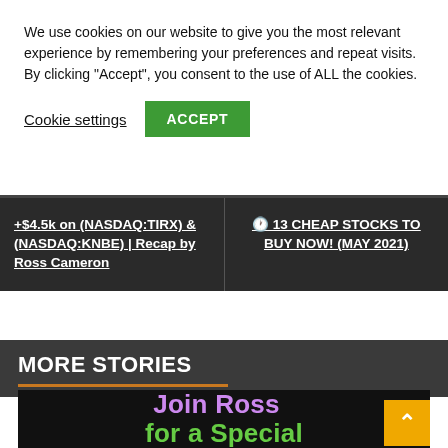We use cookies on our website to give you the most relevant experience by remembering your preferences and repeat visits. By clicking "Accept", you consent to the use of ALL the cookies.
Cookie settings   ACCEPT
+$4.5k on (NASDAQ:TIRX) & (NASDAQ:KNBE) | Recap by Ross Cameron
🕐 13 CHEAP STOCKS TO BUY NOW! (MAY 2021)
MORE STORIES
[Figure (photo): Chalkboard image with colorful text reading 'Join Ross for a Special' with purple and green chalk lettering on a dark background. An orange scroll-to-top button with an upward caret is overlaid in the bottom right.]